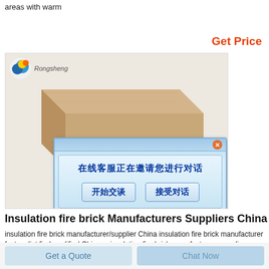areas with warm
Get Price
[Figure (photo): Photo of an insulation fire brick with a Rongsheng logo in the upper left, and a Chinese chat dialog box overlay showing buttons '开始交谈' (Start Chat) and '接受对话' (Accept Conversation)]
Insulation fire brick Manufacturers Suppliers China
insulation fire brick manufacturer/supplier China insulation fire brick manufacturer factory list find qualified Chinese insulation fire brick manufacturers suppliers factories exporters wholesalers quickly on Made in China
Get a Quote
Chat Now